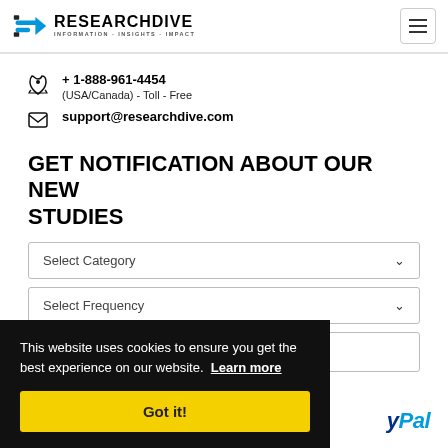Research Dive — INFORMATION-INSIGHTS-IMPACT
+ 1-888-961-4454
(USA/Canada) - Toll - Free
support@researchdive.com
GET NOTIFICATION ABOUT OUR NEW STUDIES
Select Category
Select Frequency
Email
This website uses cookies to ensure you get the best experience on our website. Learn more
Got it!
yPal